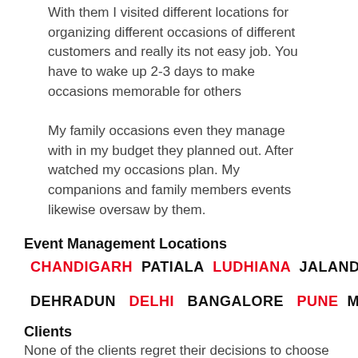With them I visited different locations for organizing different occasions of different customers and really its not easy job. You have to wake up 2-3 days to make occasions memorable for others
My family occasions even they manage with in my budget they planned out. After watched my occasions plan. My companions and family members events likewise oversaw by them.
Event Management Locations
CHANDIGARH  PATIALA  LUDHIANA  JALANDHAR  AMRITSAR
DEHRADUN  DELHI  BANGALORE  PUNE  MUMBAI  DUBAI
Clients
None of the clients regret their decisions to choose "The BIG SHOWZ" to manage their occasions. When they memorize